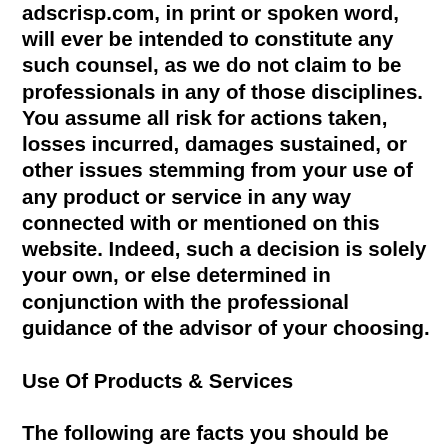adscrisp.com, in print or spoken word, will ever be intended to constitute any such counsel, as we do not claim to be professionals in any of those disciplines. You assume all risk for actions taken, losses incurred, damages sustained, or other issues stemming from your use of any product or service in any way connected with or mentioned on this website. Indeed, such a decision is solely your own, or else determined in conjunction with the professional guidance of the advisor of your choosing.
Use Of Products & Services
The following are facts you should be